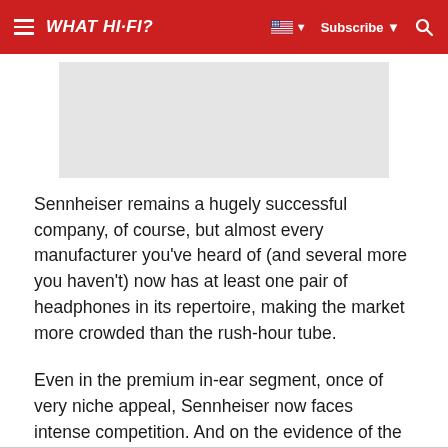WHAT HI-FI?
[Figure (other): Gray rectangular advertisement placeholder banner]
Sennheiser remains a hugely successful company, of course, but almost every manufacturer you've heard of (and several more you haven't) now has at least one pair of headphones in its repertoire, making the market more crowded than the rush-hour tube.
Even in the premium in-ear segment, once of very niche appeal, Sennheiser now faces intense competition. And on the evidence of the IE 80 Ss here, the company really needs to raise its game to get back on top.